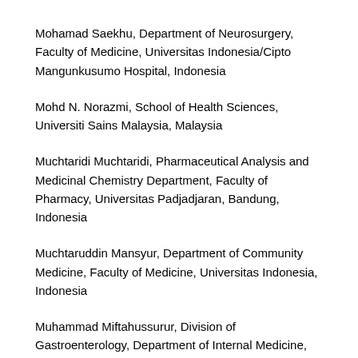Mohamad Saekhu, Department of Neurosurgery, Faculty of Medicine, Universitas Indonesia/Cipto Mangunkusumo Hospital, Indonesia
Mohd N. Norazmi, School of Health Sciences, Universiti Sains Malaysia, Malaysia
Muchtaridi Muchtaridi, Pharmaceutical Analysis and Medicinal Chemistry Department, Faculty of Pharmacy, Universitas Padjadjaran, Bandung, Indonesia
Muchtaruddin Mansyur, Department of Community Medicine, Faculty of Medicine, Universitas Indonesia, Indonesia
Muhammad Miftahussurur, Division of Gastroenterology, Department of Internal Medicine, Faculty of Medicine, Universitas Airlangga/Dr. Soetomo Hospital, Surabaya, Indonesia